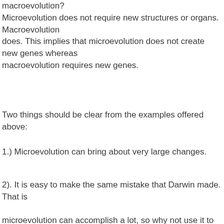What is the difference between microevolution and macroevolution? Microevolution does not require new structures or organs. Macroevolution does. This implies that microevolution does not create new genes whereas macroevolution requires new genes.
Two things should be clear from the examples offered above:
1.) Microevolution can bring about very large changes.
2). It is easy to make the same mistake that Darwin made. That is microevolution can accomplish a lot, so why not use it to explain...